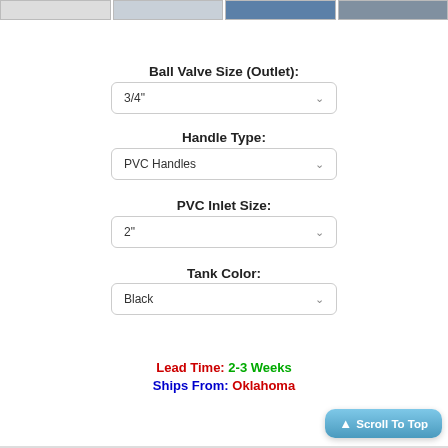[Figure (screenshot): Thumbnail strip of product images at top]
Ball Valve Size (Outlet):
3/4"
Handle Type:
PVC Handles
PVC Inlet Size:
2"
Tank Color:
Black
Lead Time:  2-3 Weeks
Ships From: Oklahoma